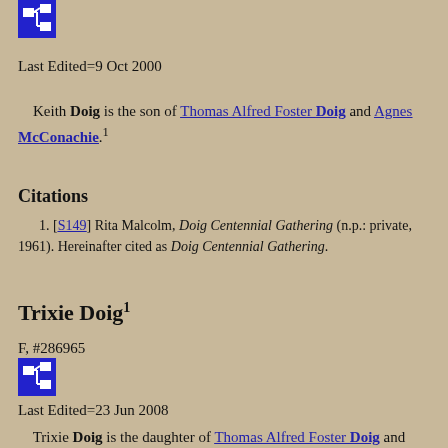[Figure (other): Blue icon button with family tree/pedigree symbol]
Last Edited=9 Oct 2000
Keith Doig is the son of Thomas Alfred Foster Doig and Agnes McConachie.1
Citations
[S149] Rita Malcolm, Doig Centennial Gathering (n.p.: private, 1961). Hereinafter cited as Doig Centennial Gathering.
Trixie Doig1
F, #286965
[Figure (other): Blue icon button with family tree/pedigree symbol]
Last Edited=23 Jun 2008
Trixie Doig is the daughter of Thomas Alfred Foster Doig and Agnes McConachie.1 She married unknown King before 1961.1